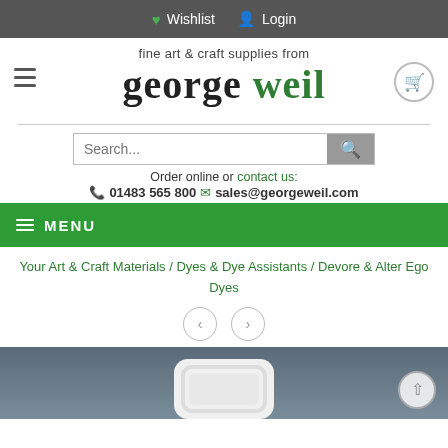Wishlist  Login
[Figure (logo): George Weil fine art & craft supplies logo with tagline and hamburger menu and cart icon]
[Figure (screenshot): Search bar with placeholder text 'Search...' and search button]
Order online or contact us:
01483 565 800  sales@georgeweil.com
MENU
Your Art & Craft Materials / Dyes & Dye Assistants / Devore & Alter Ego Dyes
[Figure (other): Previous and next navigation arrow buttons]
[Figure (photo): Product photo showing a white bottle cap on dark background]